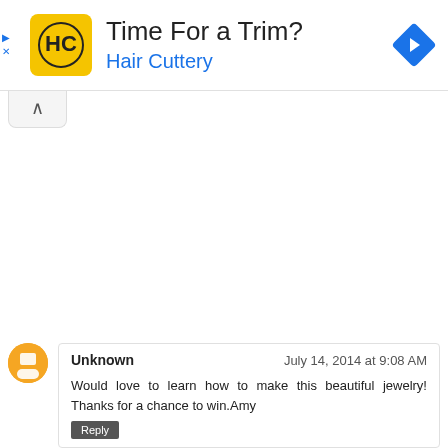[Figure (screenshot): Hair Cuttery advertisement banner with yellow logo, text 'Time For a Trim?' and blue navigation diamond icon]
Unknown
July 14, 2014 at 9:08 AM
Would love to learn how to make this beautiful jewelry! Thanks for a chance to win.Amy